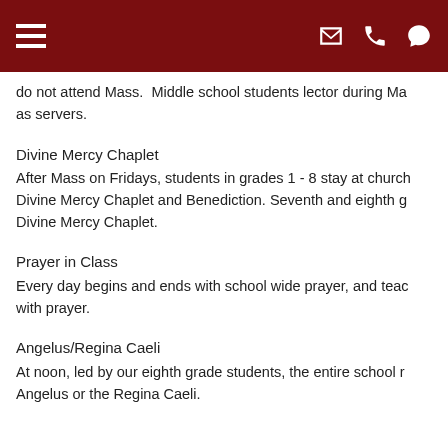Navigation bar with hamburger menu and icons
do not attend Mass.  Middle school students lector during Ma... as servers.
Divine Mercy Chaplet
After Mass on Fridays, students in grades 1 - 8 stay at church... Divine Mercy Chaplet and Benediction. Seventh and eighth g... Divine Mercy Chaplet.
Prayer in Class
Every day begins and ends with school wide prayer, and teac... with prayer.
Angelus/Regina Caeli
At noon, led by our eighth grade students, the entire school r... Angelus or the Regina Caeli.